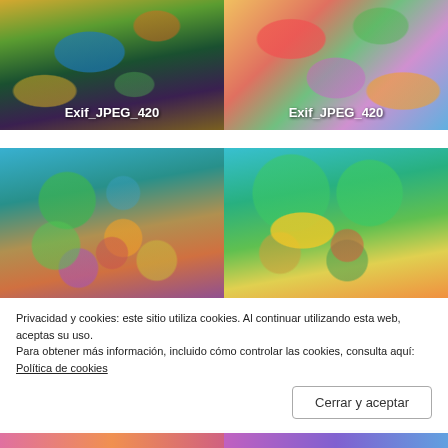[Figure (photo): Colorful painting with Egyptian/folk art motifs on dark background, labeled Exif_JPEG_420]
[Figure (photo): Colorful abstract painting with circles and patterns, labeled Exif_JPEG_420]
[Figure (photo): Painting with teal background featuring decorative circular patterned balls and leaf shapes]
[Figure (photo): Painting with teal background featuring large green leaves, yellow sun circle, and colorful patterned balls]
Privacidad y cookies: este sitio utiliza cookies. Al continuar utilizando esta web, aceptas su uso.
Para obtener más información, incluido cómo controlar las cookies, consulta aquí: Política de cookies
Cerrar y aceptar
[Figure (photo): Partial view of bottom-row images, cut off at page bottom]